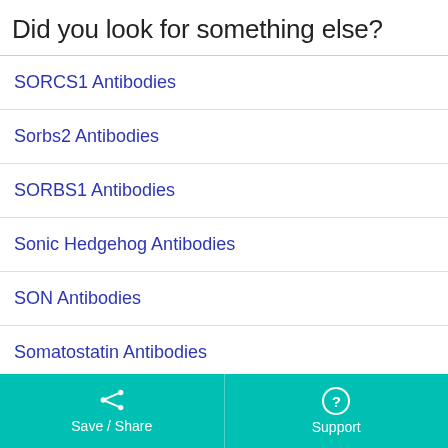Did you look for something else?
SORCS1 Antibodies
Sorbs2 Antibodies
SORBS1 Antibodies
Sonic Hedgehog Antibodies
SON Antibodies
Somatostatin Antibodies
Save / Share   Support